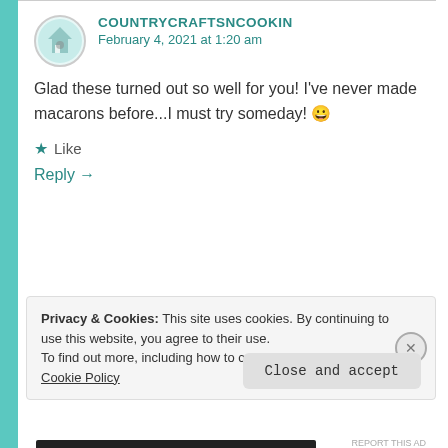COUNTRYCRAFTSNCOOKIN
February 4, 2021 at 1:20 am
Glad these turned out so well for you! I've never made macarons before...I must try someday! 😀
Like
Reply →
ANNABEL
Privacy & Cookies: This site uses cookies. By continuing to use this website, you agree to their use.
To find out more, including how to control cookies, see here: Cookie Policy
Close and accept